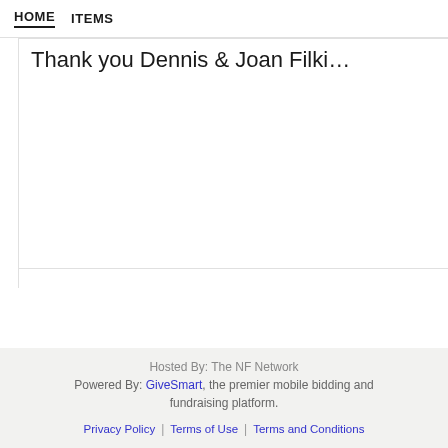HOME   ITEMS
Thank you Dennis & Joan Filki...
[Figure (photo): Partially visible banner image with purple/lavender gradient background and a glowing golden-peach orb or pearl shape at the bottom right]
Hosted By: The NF Network
Powered By: GiveSmart, the premier mobile bidding and fundraising platform.
Privacy Policy | Terms of Use | Terms and Conditions